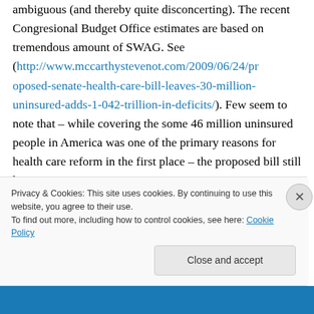ambiguous (and thereby quite disconcerting). The recent Congresional Budget Office estimates are based on tremendous amount of SWAG. See (http://www.mccarthystevenot.com/2009/06/24/proposed-senate-health-care-bill-leaves-30-million-uninsured-adds-1-042-trillion-in-deficits/). Few seem to note that – while covering the some 46 million uninsured people in America was one of the primary reasons for health care reform in the first place – the proposed bill still leaves 30
Privacy & Cookies: This site uses cookies. By continuing to use this website, you agree to their use.
To find out more, including how to control cookies, see here: Cookie Policy
Close and accept